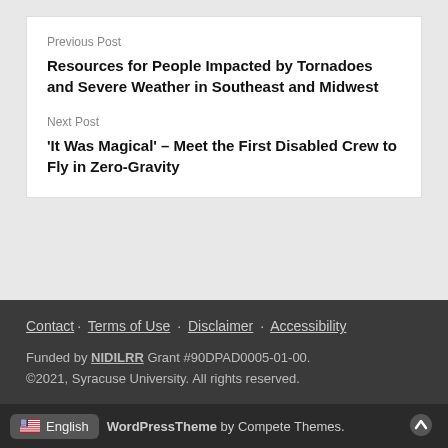Previous Post
Resources for People Impacted by Tornadoes and Severe Weather in Southeast and Midwest
Next Post
'It Was Magical' – Meet the First Disabled Crew to Fly in Zero-Gravity
Contact · Terms of Use · Disclaimer · Accessibility
Funded by NIDILRR Grant #90DPAD0005-01-00. ©2021, Syracuse University. All rights reserved.
English | WordPress Theme by Compete Themes.